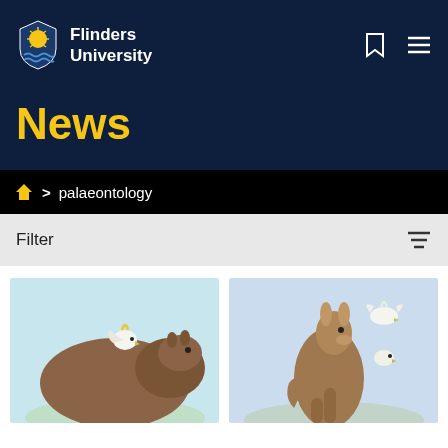Flinders University
News
palaeontology
Filter
[Figure (illustration): Two illustrated animals: a large brown wombat-like creature with a white cockatoo on its back (left card), and a kangaroo-like animal with a white cockatoo nearby (right card), both set against a light blue sky background.]